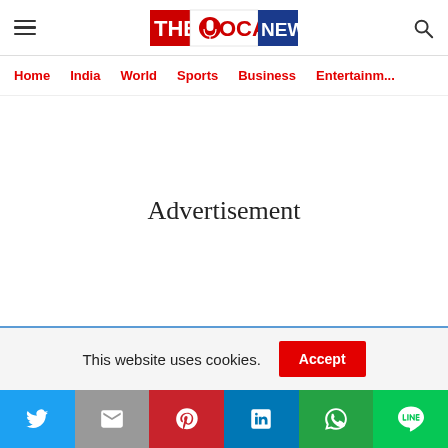The Vocal News — header with hamburger menu, logo, and search icon
Home  India  World  Sports  Business  Entertainment
Advertisement
This website uses cookies.  Accept
[Figure (infographic): Social media share bar with Twitter, Email, Pinterest, LinkedIn, WhatsApp, and Line icons]